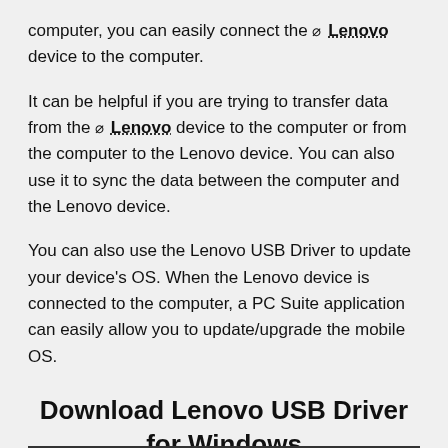computer, you can easily connect the Lenovo device to the computer.
It can be helpful if you are trying to transfer data from the Lenovo device to the computer or from the computer to the Lenovo device. You can also use it to sync the data between the computer and the Lenovo device.
You can also use the Lenovo USB Driver to update your device's OS. When the Lenovo device is connected to the computer, a PC Suite application can easily allow you to update/upgrade the mobile OS.
Download Lenovo USB Driver for Windows